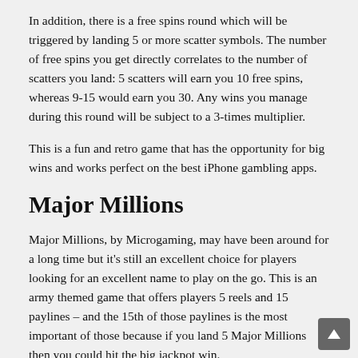In addition, there is a free spins round which will be triggered by landing 5 or more scatter symbols. The number of free spins you get directly correlates to the number of scatters you land: 5 scatters will earn you 10 free spins, whereas 9-15 would earn you 30. Any wins you manage during this round will be subject to a 3-times multiplier.
This is a fun and retro game that has the opportunity for big wins and works perfect on the best iPhone gambling apps.
Major Millions
Major Millions, by Microgaming, may have been around for a long time but it's still an excellent choice for players looking for an excellent name to play on the go. This is an army themed game that offers players 5 reels and 15 paylines – and the 15th of those paylines is the most important of those because if you land 5 Major Millions then you could hit the big jackpot win.
Aside from the jackpot win, the game in itself is relatively simple – as it doesn't offer the free spins or multipliers features that